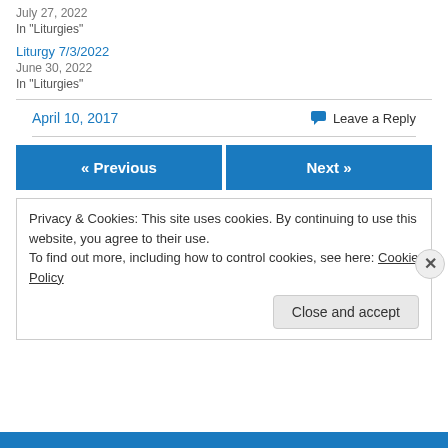July 27, 2022
In "Liturgies"
Liturgy 7/3/2022
June 30, 2022
In "Liturgies"
April 10, 2017
Leave a Reply
« Previous
Next »
Privacy & Cookies: This site uses cookies. By continuing to use this website, you agree to their use.
To find out more, including how to control cookies, see here: Cookie Policy
Close and accept